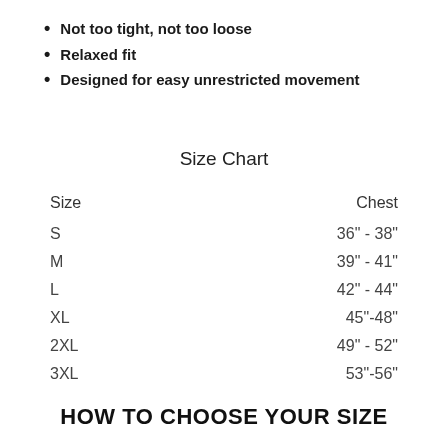Not too tight, not too loose
Relaxed fit
Designed for easy unrestricted movement
Size Chart
| Size | Chest |
| --- | --- |
| S | 36" - 38" |
| M | 39" - 41" |
| L | 42" - 44" |
| XL | 45"-48" |
| 2XL | 49" - 52" |
| 3XL | 53"-56" |
HOW TO CHOOSE YOUR SIZE